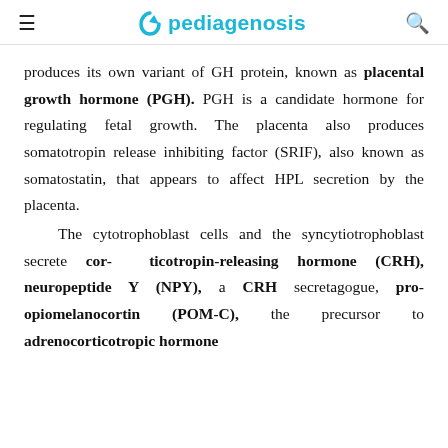pediagenosis
produces its own variant of GH protein, known as placental growth hormone (PGH). PGH is a candidate hormone for regulating fetal growth. The placenta also produces somatotropin release inhibiting factor (SRIF), also known as somatostatin, that appears to affect HPL secretion by the placenta.

The cytotrophoblast cells and the syncytiotrophoblast secrete cor- ticotropin-releasing hormone (CRH), neuropeptide Y (NPY), a CRH secretagogue, pro-opiomelanocortin (POM-C), the precursor to adrenocorticotropic hormone